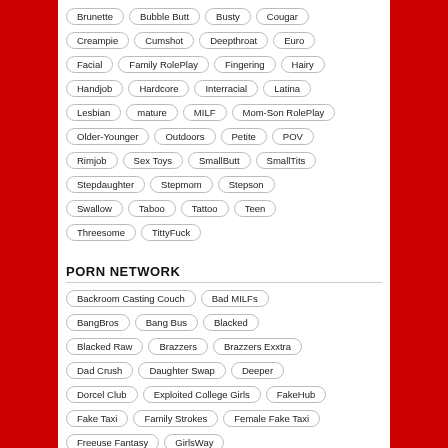Brunette
Bubble Butt
Busty
Cougar
Creampie
Cumshot
Deepthroat
Euro
Facial
Family RolePlay
Fingering
Hairy
Handjob
Hardcore
Interracial
Latina
Lesbian
mature
MILF
Mom-Son RolePlay
Older-Younger
Outdoors
Petite
POV
Rimjob
Sex Toys
SmallButt
SmallTits
Stepdaughter
Stepmom
Stepson
Swallow
Taboo
Tattoo
Teen
Threesome
TittyFuck
PORN NETWORK
Backroom Casting Couch
Bad MILFs
BangBros
Bang Bus
Blacked
Blacked Raw
Brazzers
Brazzers Exxtra
Dad Crush
Daughter Swap
Deeper
Dorcel Club
Exploited College Girls
FakeHub
Fake Taxi
Family Strokes
Female Fake Taxi
Freeuse Fantasy
GirlsWay